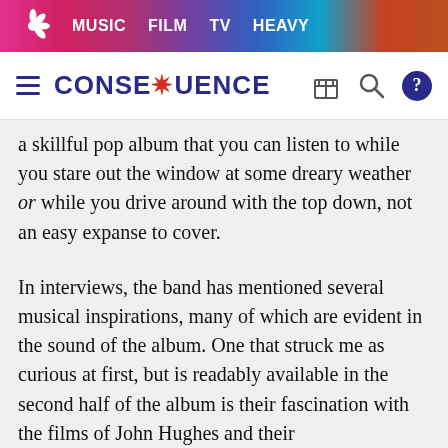MUSIC  FILM  TV  HEAVY
CONSEQUENCE
a skillful pop album that you can listen to while you stare out the window at some dreary weather or while you drive around with the top down, not an easy expanse to cover.
In interviews, the band has mentioned several musical inspirations, many of which are evident in the sound of the album. One that struck me as curious at first, but is readably available in the second half of the album is their fascination with the films of John Hughes and their scores/soundtracks. “Heart Out” starts with a synthy bass line before sprawling into a catchy pop song with ’80s movie music tropes, like jazzy horns, guitar hiccups, and lovelorn lyrics. The